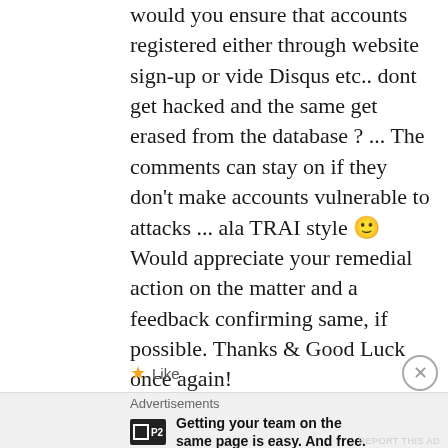would you ensure that accounts registered either through website sign-up or vide Disqus etc.. dont get hacked and the same get erased from the database ? ... The comments can stay on if they don't make accounts vulnerable to attacks ... ala TRAI style 🙂 Would appreciate your remedial action on the matter and a feedback confirming same, if possible. Thanks & Good Luck once again!
★ Like
Advertisements
Getting your team on the same page is easy. And free.